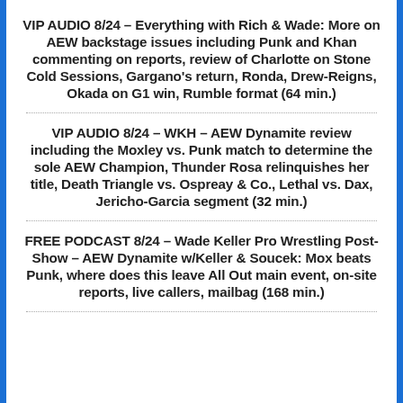VIP AUDIO 8/24 – Everything with Rich & Wade: More on AEW backstage issues including Punk and Khan commenting on reports, review of Charlotte on Stone Cold Sessions, Gargano's return, Ronda, Drew-Reigns, Okada on G1 win, Rumble format (64 min.)
VIP AUDIO 8/24 – WKH – AEW Dynamite review including the Moxley vs. Punk match to determine the sole AEW Champion, Thunder Rosa relinquishes her title, Death Triangle vs. Ospreay & Co., Lethal vs. Dax, Jericho-Garcia segment (32 min.)
FREE PODCAST 8/24 – Wade Keller Pro Wrestling Post-Show – AEW Dynamite w/Keller & Soucek: Mox beats Punk, where does this leave All Out main event, on-site reports, live callers, mailbag (168 min.)